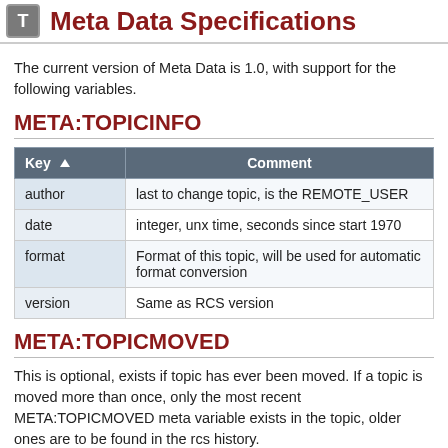Meta Data Specifications
The current version of Meta Data is 1.0, with support for the following variables.
META:TOPICINFO
| Key ▲ | Comment |
| --- | --- |
| author | last to change topic, is the REMOTE_USER |
| date | integer, unx time, seconds since start 1970 |
| format | Format of this topic, will be used for automatic format conversion |
| version | Same as RCS version |
META:TOPICMOVED
This is optional, exists if topic has ever been moved. If a topic is moved more than once, only the most recent META:TOPICMOVED meta variable exists in the topic, older ones are to be found in the rcs history.